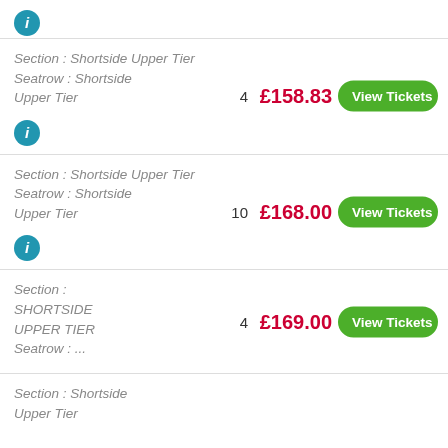[Figure (other): Blue info icon circle at top]
Section : Shortside Upper Tier
Seatrow : Shortside Upper Tier
4
£158.83
View Tickets
[Figure (other): Blue info icon circle]
Section : Shortside Upper Tier
Seatrow : Shortside Upper Tier
10
£168.00
View Tickets
[Figure (other): Blue info icon circle]
Section :
SHORTSIDE UPPER TIER
Seatrow : ...
4
£169.00
View Tickets
Section : Shortside
Upper Tier